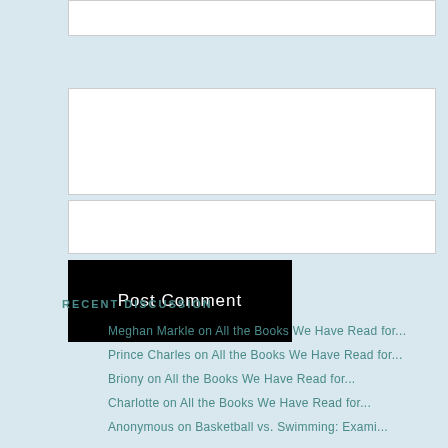Website
RECENT DISCUSSION
Meghan Markle on All the Books We Have Read for...
Prince Charles on All the Books We Have Read for...
Briony on All the Books We Have Read for...
Charlotte on All the Books We Have Read for...
Anonymous on Basketball vs. Swimming: Exami...